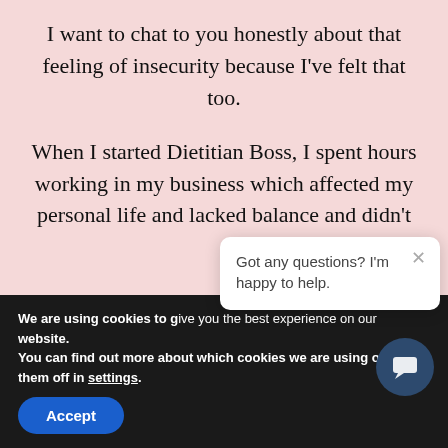I want to chat to you honestly about that feeling of insecurity because I've felt that too.
When I started Dietitian Boss, I spent hours working in my business which affected my personal life and lacked balance and didn't...
We are using cookies to give you the best experience on our website.
You can find out more about which cookies we are using or switch them off in settings.
Accept
Got any questions? I'm happy to help.